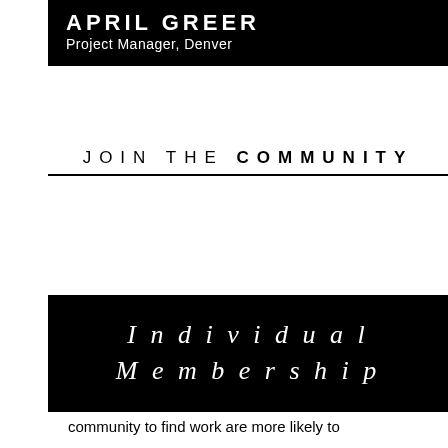APRIL GREER
Project Manager, Denver
JOIN THE COMMUNITY
[Figure (other): Black banner with italic serif text reading 'Individual Membership']
Members who've leveraged this community to find work are more likely to